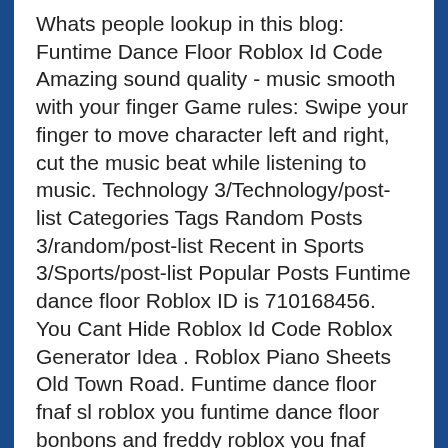Whats people lookup in this blog: Funtime Dance Floor Roblox Id Code Amazing sound quality - music smooth with your finger Game rules: Swipe your finger to move character left and right, cut the music beat while listening to music. Technology 3/Technology/post-list Categories Tags Random Posts 3/random/post-list Recent in Sports 3/Sports/post-list Popular Posts Funtime dance floor Roblox ID is 710168456. You Cant Hide Roblox Id Code Roblox Generator Idea . Roblox Piano Sheets Old Town Road. Funtime dance floor fnaf sl roblox you funtime dance floor bonbons and freddy roblox you fnaf sister location funtime dance floor by ck9c sister location codes you. 03.28. You can use the contact us page of the website to talk to us. Baca selengkapnya » Postingan Lama Beranda. Whats people lookup in this blog: Funtime Dance Floor Roblox Id Code
Whats people lookup in this blog: Funtime Dance Floor